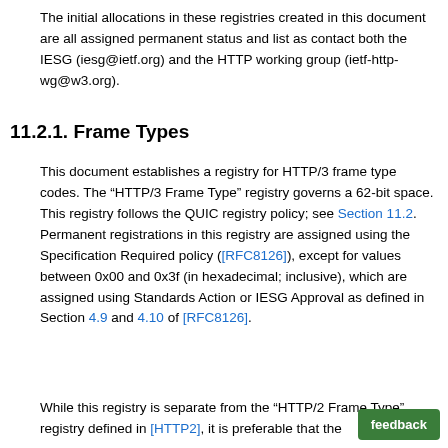The initial allocations in these registries created in this document are all assigned permanent status and list as contact both the IESG (iesg@ietf.org) and the HTTP working group (ietf-http-wg@w3.org).
11.2.1. Frame Types
This document establishes a registry for HTTP/3 frame type codes. The “HTTP/3 Frame Type” registry governs a 62-bit space. This registry follows the QUIC registry policy; see Section 11.2. Permanent registrations in this registry are assigned using the Specification Required policy ([RFC8126]), except for values between 0x00 and 0x3f (in hexadecimal; inclusive), which are assigned using Standards Action or IESG Approval as defined in Section 4.9 and 4.10 of [RFC8126].
While this registry is separate from the “HTTP/2 Frame Type” registry defined in [HTTP2], it is preferable that the